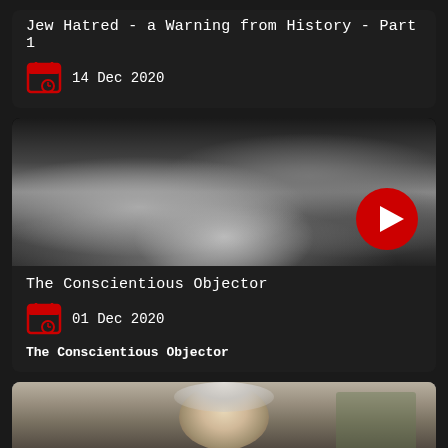Jew Hatred - a Warning from History - Part 1
14 Dec 2020
[Figure (screenshot): Black and white video thumbnail showing dark forest/trees scene with YouTube play button overlay]
The Conscientious Objector
01 Dec 2020
The Conscientious Objector
[Figure (photo): Partial thumbnail showing an elderly person with grey/white hair]